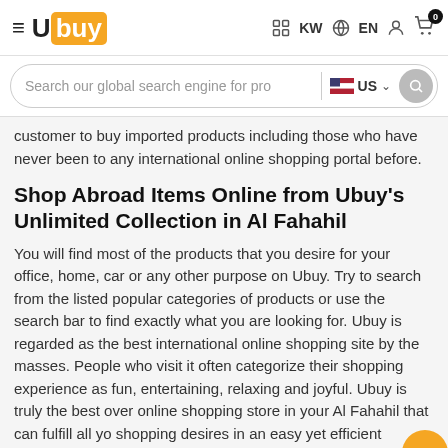Ubuy — KW EN (hamburger menu, cart icon with 0 badge)
Search our global search engine for pro   US
customer to buy imported products including those who have never been to any international online shopping portal before.
Shop Abroad Items Online from Ubuy's Unlimited Collection in Al Fahahil
You will find most of the products that you desire for your office, home, car or any other purpose on Ubuy. Try to search from the listed popular categories of products or use the search bar to find exactly what you are looking for. Ubuy is regarded as the best international online shopping site by the masses. People who visit it often categorize their shopping experience as fun, entertaining, relaxing and joyful. Ubuy is truly the best overall online shopping store in your Al Fahahil that can fulfill all your shopping desires in an easy yet efficient manner.